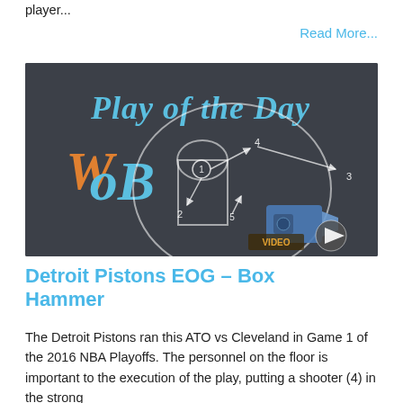player...
Read More...
[Figure (screenshot): Play of the Day video thumbnail showing a basketball play diagram drawn on a chalkboard, with WOB logo in orange and blue, numbered player positions and arrows, and a video play button overlay.]
Detroit Pistons EOG - Box Hammer
The Detroit Pistons ran this ATO vs Cleveland in Game 1 of the 2016 NBA Playoffs. The personnel on the floor is important to the execution of the play, putting a shooter (4) in the strong